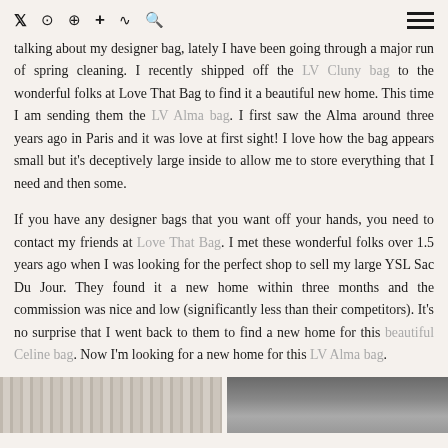Twitter Instagram Pinterest + RSS Search [hamburger menu]
talking about my designer bag, lately I have been going through a major run of spring cleaning. I recently shipped off the LV Cluny bag to the wonderful folks at Love That Bag to find it a beautiful new home. This time I am sending them the LV Alma bag. I first saw the Alma around three years ago in Paris and it was love at first sight! I love how the bag appears small but it's deceptively large inside to allow me to store everything that I need and then some.
If you have any designer bags that you want off your hands, you need to contact my friends at Love That Bag. I met these wonderful folks over 1.5 years ago when I was looking for the perfect shop to sell my large YSL Sac Du Jour. They found it a new home within three months and the commission was nice and low (significantly less than their competitors). It's no surprise that I went back to them to find a new home for this beautiful Celine bag. Now I'm looking for a new home for this LV Alma bag.
[Figure (photo): Two side-by-side photos at the bottom of the page showing fabric or bag textures, partially visible.]